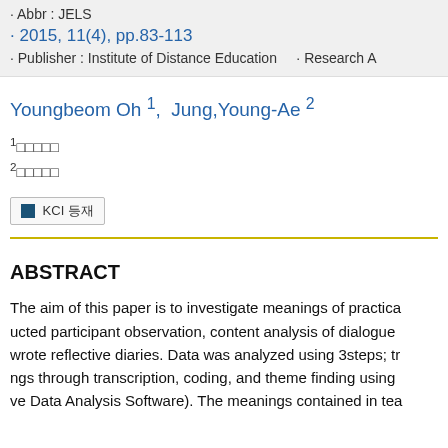· Abbr : JELS
· 2015, 11(4), pp.83-113
· Publisher : Institute of Distance Education   · Research A
Youngbeom Oh 1,  Jung,Young-Ae 2
1□□□□□
2□□□□□
KCI 등재
ABSTRACT
The aim of this paper is to investigate meanings of practica ucted participant observation, content analysis of dialogue wrote reflective diaries. Data was analyzed using 3steps; tr ngs through transcription, coding, and theme finding using ve Data Analysis Software). The meanings contained in tea